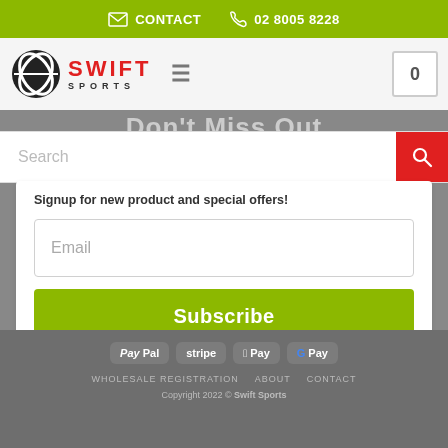CONTACT   02 8005 8228
[Figure (logo): Swift Sports logo with circular icon and red SWIFT text]
Don't Miss Out
Search
Signup for new product and special offers!
Email
Subscribe
[Figure (infographic): Payment icons: PayPal, stripe, Apple Pay, Google Pay]
WHOLESALE REGISTRATION   ABOUT   CONTACT
Copyright 2022 © Swift Sports